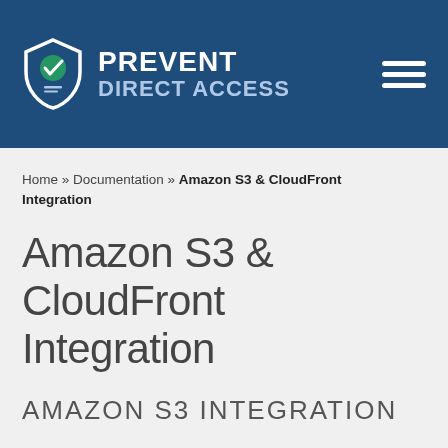[Figure (logo): Prevent Direct Access logo with shield icon containing a green checkmark and document icon, white text on dark blue background header bar with hamburger menu icon]
Home » Documentation » Amazon S3 & CloudFront Integration
Amazon S3 & CloudFront Integration
AMAZON S3 INTEGRATION